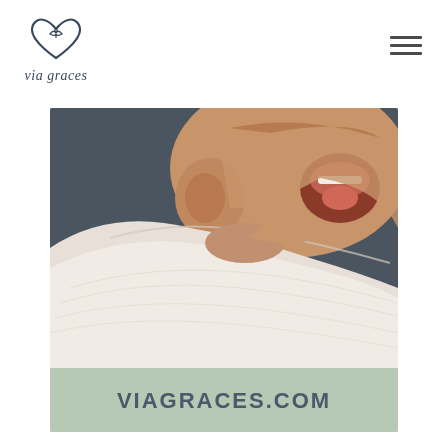[Figure (logo): Via Graces logo: a heart outline with a small dove/bird inside, and the text 'via graces' in italic script below]
[Figure (other): Hamburger menu icon: three horizontal dark lines]
[Figure (photo): Close-up photo of a newborn baby yawning, wrapped in a white muslin swaddle blanket, set against a sage green background card with VIAGRACES.COM text below]
VIAGRACES.COM